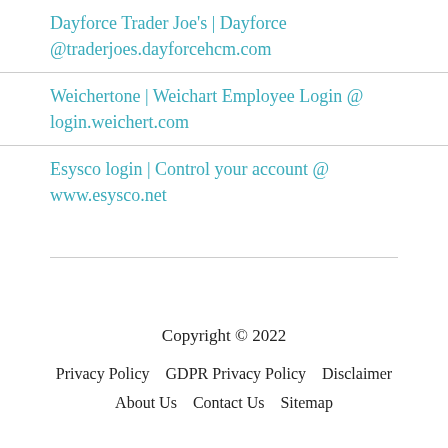Dayforce Trader Joe's | Dayforce @traderjoes.dayforcehcm.com
Weichertone | Weichart Employee Login @ login.weichert.com
Esysco login | Control your account @ www.esysco.net
Copyright © 2022
Privacy Policy    GDPR Privacy Policy    Disclaimer
About Us    Contact Us    Sitemap